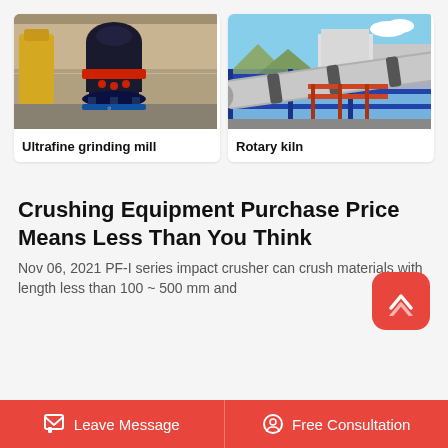[Figure (photo): Industrial ultrafine grinding mill machine in a factory setting]
Ultrafine grinding mill
[Figure (photo): Large rotary kiln equipment at an industrial facility with blue sky]
Rotary kiln
Crushing Equipment Purchase Price Means Less Than You Think
Nov 06, 2021 PF-I series impact crusher can crush materials with length less than 100 ~ 500 mm and